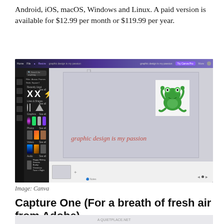Android, iOS, macOS, Windows and Linux. A paid version is available for $12.99 per month or $119.99 per year.
[Figure (screenshot): Screenshot of the Canva graphic design web application interface, showing a dark left sidebar with shapes, images, and audio panels, and a main canvas area displaying a design with a cartoon frog image and the text 'graphic design is my passion' in red italic font on a grey background.]
Image: Canva
Capture One (For a breath of fresh air from Adobe)
[Figure (screenshot): Partial screenshot of another application visible at the bottom of the page.]